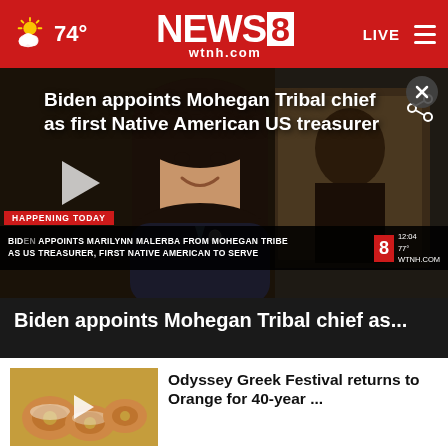74° NEWS 8 wtnh.com LIVE
[Figure (screenshot): Video thumbnail showing a woman smiling with text overlay: Biden appoints Mohegan Tribal chief as first Native American US treasurer. Lower third ticker: BIDEN APPOINTS MARILYNN MALERBA FROM MOHEGAN TRIBE AS US TREASURER, FIRST NATIVE AMERICAN TO SERVE. HAPPENING TODAY banner. News 8 logo with 12:04, 77°, WTNH.COM.]
Biden appoints Mohegan Tribal chief as...
[Figure (photo): Small thumbnail of food (fried dough/donuts) for Odyssey Greek Festival story]
Odyssey Greek Festival returns to Orange for 40-year ...